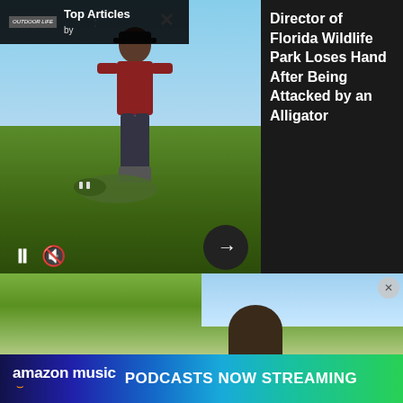[Figure (screenshot): Video player showing a man leaning over an alligator outdoors, with playback controls (pause, mute) and a forward arrow button. A 'Top Articles' overlay panel is shown on the left side with the Outdoor Life logo.]
Director of Florida Wildlife Park Loses Hand After Being Attacked by an Alligator
display, but with the Outdoor Life Tackle Test on our early fall schedule, we took special interest in previewing the new rod and reel introductions for the 2018 season. Here's a look at just a few of the standouts that we'll be testing, many of which are not yet on the market.
[Figure (photo): Partial outdoor photo showing trees and blue sky, likely continuation of article imagery.]
[Figure (screenshot): Amazon Music advertisement banner reading 'amazon music PODCASTS NOW STREAMING' on a colorful gradient background from dark blue to green.]